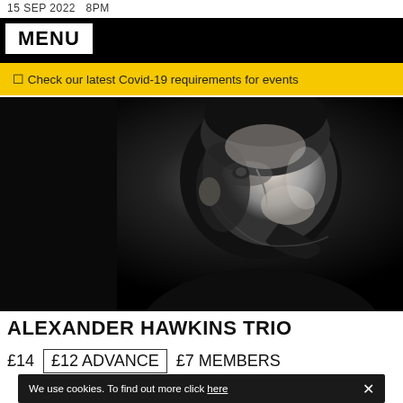15 SEP 2022   8PM
MENU
⬜ Check our latest Covid-19 requirements for events
[Figure (photo): Black and white dramatic portrait of a man (Alexander Hawkins) with his mouth open, shot from a side-angled perspective against a dark background]
ALEXANDER HAWKINS TRIO
£14  £12 ADVANCE  £7 MEMBERS
We use cookies. To find out more click here